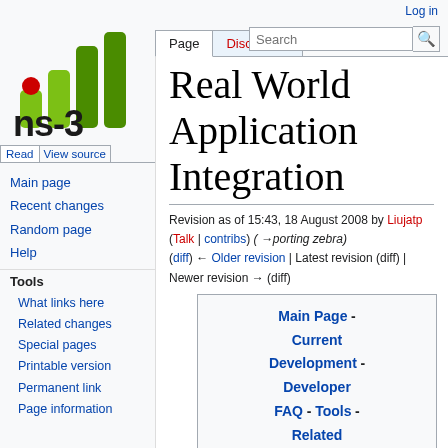Log in
[Figure (logo): ns-3 logo with green bar chart icon and ns-3 text]
Read | View source | More
Search
Real World Application Integration
Revision as of 15:43, 18 August 2008 by Liujatp (Talk | contribs) (→porting zebra) (diff) ← Older revision | Latest revision (diff) | Newer revision → (diff)
Main page
Recent changes
Random page
Help
Tools
What links here
Related changes
Special pages
Printable version
Permanent link
Page information
Main Page - Current Development - Developer FAQ - Tools - Related